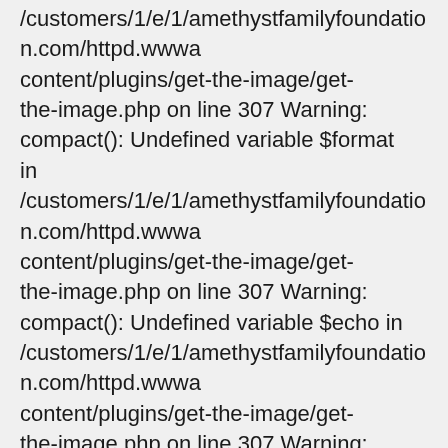/customers/1/e/1/amethystfamilyfoundation.com/httpd.wwwa content/plugins/get-the-image/get-the-image.php on line 307 Warning: compact(): Undefined variable $format in /customers/1/e/1/amethystfamilyfoundation.com/httpd.wwwa content/plugins/get-the-image/get-the-image.php on line 307 Warning: compact(): Undefined variable $echo in /customers/1/e/1/amethystfamilyfoundation.com/httpd.wwwa content/plugins/get-the-image/get-the-image.php on line 307 Warning: compact(): Undefined variable $custom_key in /customers/1/e/1/amethystfamilyfoundation.com/httpd.wwwa content/plugins/get-the-image/get-the-image.php on line 307 Warning: compact(): Undefined variable